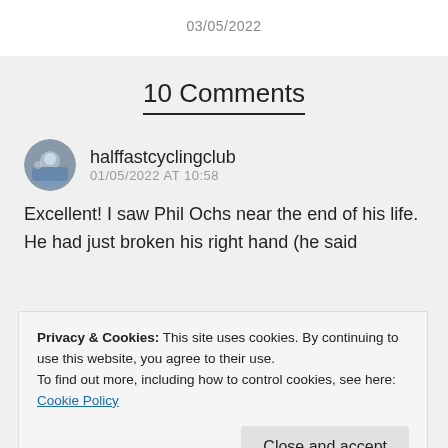03/05/2022
10 Comments
halffastcyclingclub
01/05/2022 AT 10:58
Excellent! I saw Phil Ochs near the end of his life. He had just broken his right hand (he said
Privacy & Cookies: This site uses cookies. By continuing to use this website, you agree to their use.
To find out more, including how to control cookies, see here: Cookie Policy
Close and accept
Ochs who deserves mention in Richard Fariña…